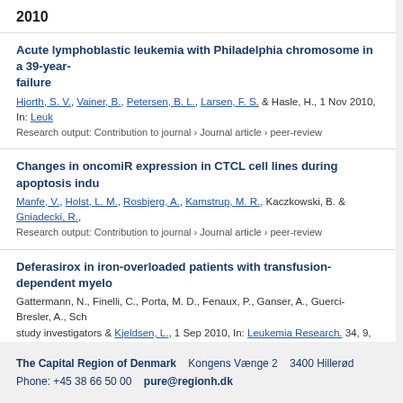2010
Acute lymphoblastic leukemia with Philadelphia chromosome in a 39-year- failure
Hjorth, S. V., Vainer, B., Petersen, B. L., Larsen, F. S. & Hasle, H., 1 Nov 2010, In: Leuk
Research output: Contribution to journal › Journal article › peer-review
Changes in oncomiR expression in CTCL cell lines during apoptosis indu
Manfe, V., Holst, L. M., Rosbjerg, A., Kamstrup, M. R., Kaczkowski, B. & Gniadecki, R.,
Research output: Contribution to journal › Journal article › peer-review
Deferasirox in iron-overloaded patients with transfusion-dependent myelo
Gattermann, N., Finelli, C., Porta, M. D., Fenaux, P., Ganser, A., Guerci-Bresler, A., Sch study investigators & Kjeldsen, L., 1 Sep 2010, In: Leukemia Research. 34, 9, p. 1143-5
Research output: Contribution to journal › Journal article › peer-review
1998
S-phase induction by interleukin-6 followed by chemotherapy in patients w
de Nully Brown, P., Jensen, P. O., Diamant, M., Mortensen, B. T., Hovgaard, D., Gimsing
Research output: Contribution to journal › Journal article › peer-review
The Capital Region of Denmark    Kongens Vænge 2    3400 Hillerød
Phone: +45 38 66 50 00    pure@regionh.dk